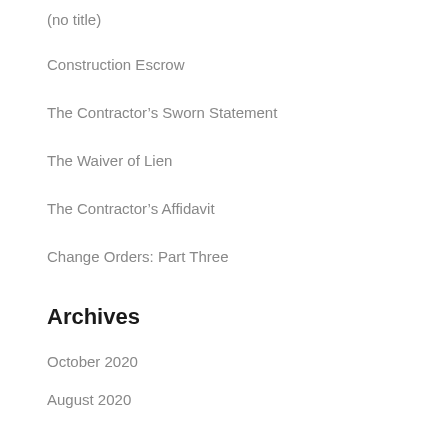(no title)
Construction Escrow
The Contractor's Sworn Statement
The Waiver of Lien
The Contractor's Affidavit
Change Orders: Part Three
Archives
October 2020
August 2020
July 2020
June 2020
March 2020
June 2019
March 2019